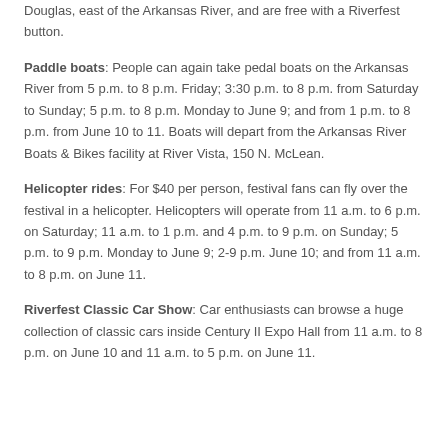Douglas, east of the Arkansas River, and are free with a Riverfest button.
Paddle boats: People can again take pedal boats on the Arkansas River from 5 p.m. to 8 p.m. Friday; 3:30 p.m. to 8 p.m. from Saturday to Sunday; 5 p.m. to 8 p.m. Monday to June 9; and from 1 p.m. to 8 p.m. from June 10 to 11. Boats will depart from the Arkansas River Boats & Bikes facility at River Vista, 150 N. McLean.
Helicopter rides: For $40 per person, festival fans can fly over the festival in a helicopter. Helicopters will operate from 11 a.m. to 6 p.m. on Saturday; 11 a.m. to 1 p.m. and 4 p.m. to 9 p.m. on Sunday; 5 p.m. to 9 p.m. Monday to June 9; 2-9 p.m. June 10; and from 11 a.m. to 8 p.m. on June 11.
Riverfest Classic Car Show: Car enthusiasts can browse a huge collection of classic cars inside Century II Expo Hall from 11 a.m. to 8 p.m. on June 10 and 11 a.m. to 5 p.m. on June 11.